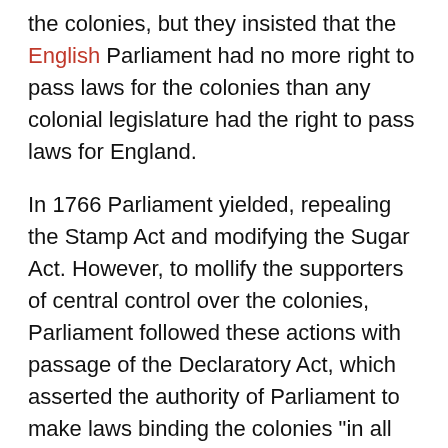the colonies, but they insisted that the English Parliament had no more right to pass laws for the colonies than any colonial legislature had the right to pass laws for England.
In 1766 Parliament yielded, repealing the Stamp Act and modifying the Sugar Act. However, to mollify the supporters of central control over the colonies, Parliament followed these actions with passage of the Declaratory Act, which asserted the authority of Parliament to make laws binding the colonies "in all cases whatsoever." The colonists had won only a temporary respite from an impending crisis.
The "Townshend Acts" were based on the premise that taxes imposed on goods imported by the colonies were legal while internal taxes (like the Stamp Act) were not. In response, Philadelphia lawyer John Dickinson, in Letters